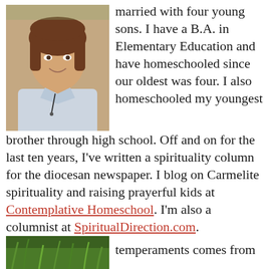[Figure (photo): Portrait photo of a woman with brown hair, smiling, wearing a light-colored collared shirt]
married with four young sons. I have a B.A. in Elementary Education and have homeschooled since our oldest was four. I also homeschooled my youngest brother through high school. Off and on for the last ten years, I've written a spirituality column for the diocesan newspaper. I blog on Carmelite spirituality and raising prayerful kids at Contemplative Homeschool. I'm also a columnist at SpiritualDirection.com.
Privacy & Cookies: This site uses cookies. By continuing to use this website, you agree to their use. To find out more, including how to control cookies, see here: Cookie Policy
[Figure (photo): Partial image of green plants/grass at the bottom left]
temperaments comes from